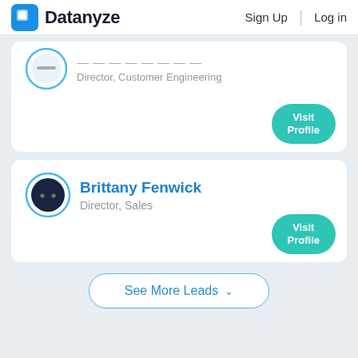Datanyze | Sign Up | Log in
Director, Customer Engineering
Visit Profile
Brittany Fenwick
Director, Sales
Visit Profile
See More Leads